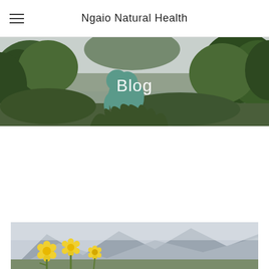Ngaio Natural Health
[Figure (photo): Hero banner image of The Thinker sculpture (teal/green patina) set against trees and overcast sky, with the word 'Blog' overlaid in white text]
Meet the family - homeopath Vicki Trudgen
12/3/2019    0 Comments
[Figure (photo): Photo of yellow alpine flowers (arnica-like) in foreground with misty mountain landscape in background]